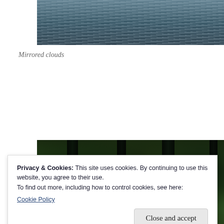[Figure (photo): Water surface reflecting clouds — dark blue-gray tones with rippled reflections]
Mirrored clouds
[Figure (photo): Forest scene with tall dark tree trunks surrounded by dense green foliage and canopy]
Privacy & Cookies: This site uses cookies. By continuing to use this website, you agree to their use.
To find out more, including how to control cookies, see here:
Cookie Policy
[Figure (photo): Partial view of another outdoor nature photo at the bottom of the page]